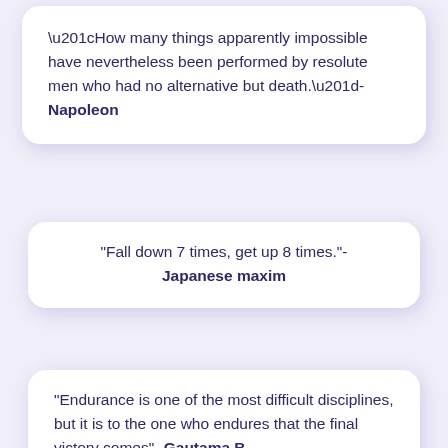“How many things apparently impossible have nevertheless been performed by resolute men who had no alternative but death.”- Napoleon
“Fall down 7 times, get up 8 times.”- Japanese maxim
“Endurance is one of the most difficult disciplines, but it is to the one who endures that the final victory comes”- Gautama B...